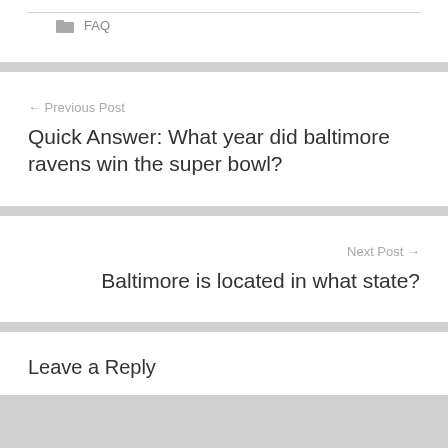FAQ
← Previous Post
Quick Answer: What year did baltimore ravens win the super bowl?
Next Post →
Baltimore is located in what state?
Leave a Reply